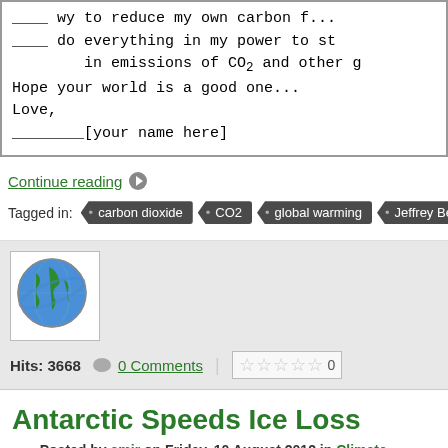[Figure (illustration): Letter excerpt with handwritten-style font showing lines with blanks, 'do everything in my power to st...', 'in emissions of CO2 and other g...', 'Hope your world is a good one...', 'Love,', '______[your name here]']
Continue reading
Tagged in: carbon dioxide · CO2 · global warming · Jeffrey Bennett
[Figure (illustration): Globe icon with blue world and green continents inside a white bordered box]
Hits: 3668
0 Comments
Antarctic Speeds Ice Loss
Posted by amir on Friday, 10 August 2012 in Climate Change
Scientists from the U.K. have uncovered a 1.6 kilometre-deep rift valley under the... may explain why that part of the continent is losing ice so rapidly. Detailed in the j... Aberdeen and British Antarctic Surv...